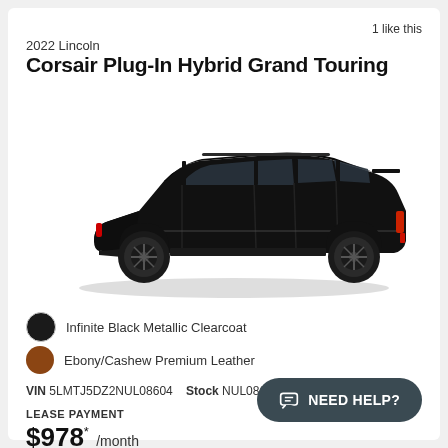1 like this
2022 Lincoln
Corsair Plug-In Hybrid Grand Touring
[Figure (photo): Side profile photo of a 2022 Lincoln Corsair Plug-In Hybrid Grand Touring in Infinite Black Metallic Clearcoat]
Infinite Black Metallic Clearcoat
Ebony/Cashew Premium Leather
VIN 5LMTJ5DZ2NUL08604   Stock NUL08604   Model J5D
LEASE PAYMENT
$978* /month
NEED HELP?